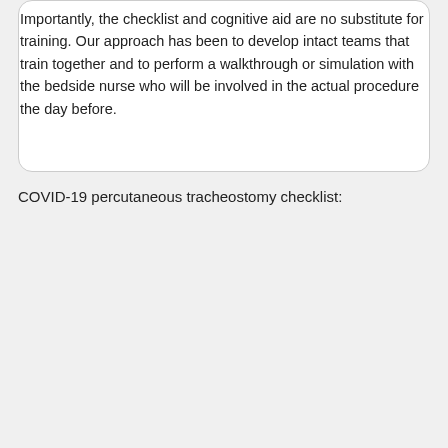Importantly, the checklist and cognitive aid are no substitute for training. Our approach has been to develop intact teams that train together and to perform a walkthrough or simulation with the bedside nurse who will be involved in the actual procedure the day before.
COVID-19 percutaneous tracheostomy checklist: